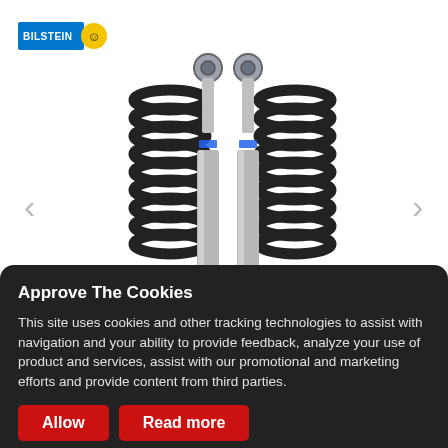[Figure (photo): Bilstein logo in top-left corner: blue rectangle with white text 'BILSTEIN' and yellow circular mascot icon]
[Figure (photo): Product photo showing two Bilstein shock absorbers (silver/chrome cylindrical dampers with blue branding and yellow Bilstein badge) flanked by two black coil springs, on white background. Left and right navigation chevron arrows visible on sides.]
Approve The Cookies
This site uses cookies and other tracking technologies to assist with navigation and your ability to provide feedback, analyze your use of product and services, assist with our promotional and marketing efforts and provide content from third parties.
Allow
Read more